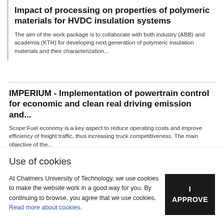Impact of processing on properties of polymeric materials for HVDC insulation systems
The aim of the work package is to collaborate with both industry (ABB) and academia (KTH) for developing next generation of polymeric insulation materials and their characterization...
IMPERIUM - Implementation of powertrain control for economic and clean real driving emission and...
Scope:Fuel economy is a key aspect to reduce operating costs and improve efficiency of freight traffic, thus increasing truck competitiveness. The main objective of the...
Use of cookies
At Chalmers University of Technology, we use cookies to make the website work in a good way for you. By continuing to browse, you agree that we use cookies. Read more about cookies.